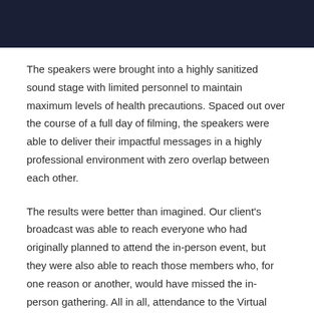[Figure (photo): Dark navy/black banner image at the top of the page]
The speakers were brought into a highly sanitized sound stage with limited personnel to maintain maximum levels of health precautions. Spaced out over the course of a full day of filming, the speakers were able to deliver their impactful messages in a highly professional environment with zero overlap between each other.
The results were better than imagined. Our client's broadcast was able to reach everyone who had originally planned to attend the in-person event, but they were also able to reach those members who, for one reason or another, would have missed the in-person gathering. All in all, attendance to the Virtual Event exceeded everyone's